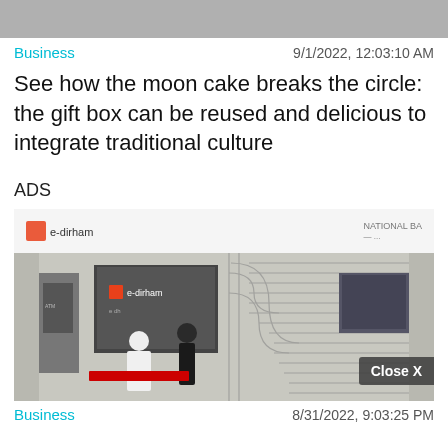[Figure (photo): Gray banner image at top of page]
Business
9/1/2022, 12:03:10 AM
See how the moon cake breaks the circle: the gift box can be reused and delicious to integrate traditional culture
ADS
[Figure (photo): Photo of an e-dirham exhibition booth with two people at a desk, a screen showing the e-dirham logo, and a circuit-board patterned wall. A 'Close X' button overlay is visible in the bottom right.]
Business
8/31/2022, 9:03:25 PM